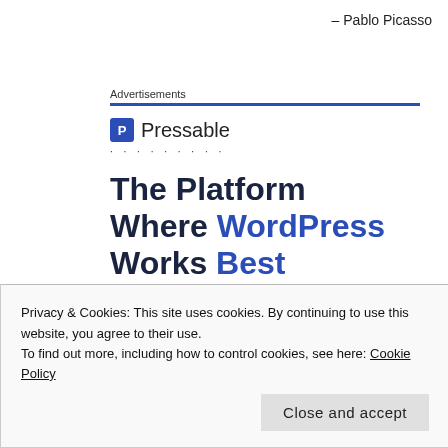– Pablo Picasso
Advertisements
[Figure (logo): Pressable logo with blue P icon and brand name, followed by dots row, and large bold headline: The Platform Where WordPress Works Best]
Privacy & Cookies: This site uses cookies. By continuing to use this website, you agree to their use.
To find out more, including how to control cookies, see here: Cookie Policy
Close and accept